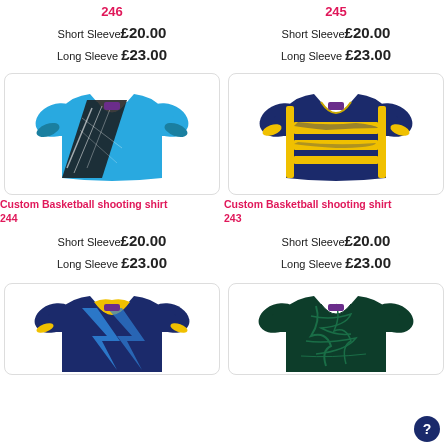246
Short Sleeve £20.00
Long Sleeve £23.00
245
Short Sleeve £20.00
Long Sleeve £23.00
[Figure (illustration): Custom Basketball shooting shirt 244 — blue/white/black graphic design short sleeve jersey]
[Figure (illustration): Custom Basketball shooting shirt 243 — navy/yellow striped graphic design short sleeve jersey]
Custom Basketball shooting shirt 244
Custom Basketball shooting shirt 243
Short Sleeve £20.00
Long Sleeve £23.00
Short Sleeve £20.00
Long Sleeve £23.00
[Figure (illustration): Custom Basketball shooting shirt — navy/blue/yellow graphic design short sleeve jersey (partial view)]
[Figure (illustration): Custom Basketball shooting shirt — dark green graphic design short sleeve jersey (partial view)]